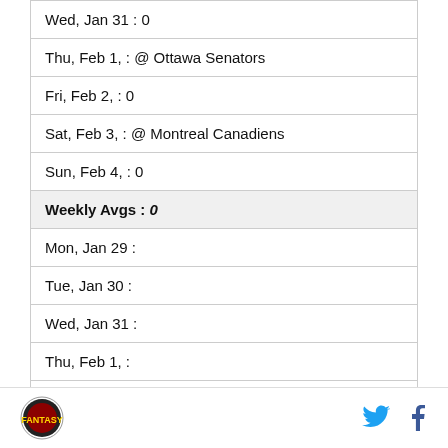| Wed, Jan 31 : 0 |
| Thu, Feb 1, : @ Ottawa Senators |
| Fri, Feb 2, : 0 |
| Sat, Feb 3, : @ Montreal Canadiens |
| Sun, Feb 4, : 0 |
| Weekly Avgs : 0 |
| Mon, Jan 29 : |
| Tue, Jan 30 : |
| Wed, Jan 31 : |
| Thu, Feb 1, : |
| Fri, Feb 2, : |
Logo | Twitter | Facebook